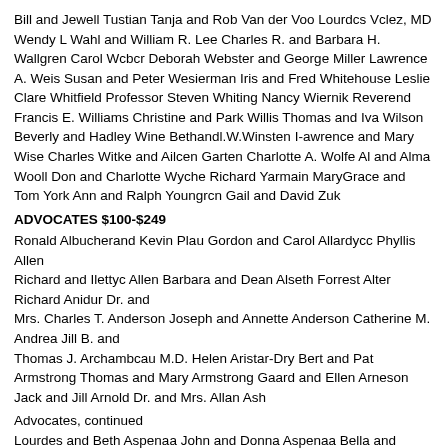Bill and Jewell Tustian Tanja and Rob Van der Voo Lourdes Velez, MD Wendy L Wahl and William R. Lee Charles R. and Barbara H. Wallgren Carol Wcbcr Deborah Webster and George Miller Lawrence A. Weis Susan and Peter Wesierman Iris and Fred Whitehouse Leslie Clare Whitfield Professor Steven Whiting Nancy Wiernik Reverend Francis E. Williams Christine and Park Willis Thomas and Iva Wilson Beverly and Hadley Wine Bethandl.W.Winsten I-awrence and Mary Wise Charles Witke and Ailcen Garten Charlotte A. Wolfe Al and Alma Wooll Don and Charlotte Wyche Richard Yarmain MaryGrace and Tom York Ann and Ralph Youngrcn Gail and David Zuk
ADVOCATES $100-$249
Ronald Albucherand Kevin Plau Gordon and Carol Allardycc Phyllis Allen Richard and Ilettyc Allen Barbara and Dean Alseth Forrest Alter Richard Anidur Dr. and Mrs. Charles T. Anderson Joseph and Annette Anderson Catherine M. Andrea Jill B. and Thomas J. Archambcau M.D. Helen Aristar-Dry Bert and Pat Armstrong Thomas and Mary Armstrong Gaard and Ellen Arneson Jack and Jill Arnold Dr. and Mrs. Allan Ash
Advocates, continued
Lourdes and Beth Aspenaa John and Donna Aspenaa Bella and